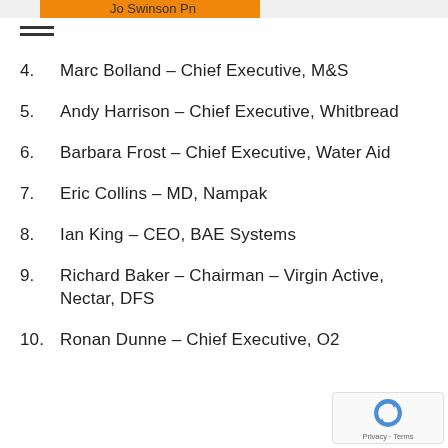3. Jo Swinson Pn
4.    Marc Bolland – Chief Executive, M&S
5.    Andy Harrison – Chief Executive, Whitbread
6.    Barbara Frost – Chief Executive, Water Aid
7.    Eric Collins – MD, Nampak
8.    Ian King – CEO, BAE Systems
9.    Richard Baker – Chairman – Virgin Active, Nectar, DFS
10.  Ronan Dunne – Chief Executive, O2